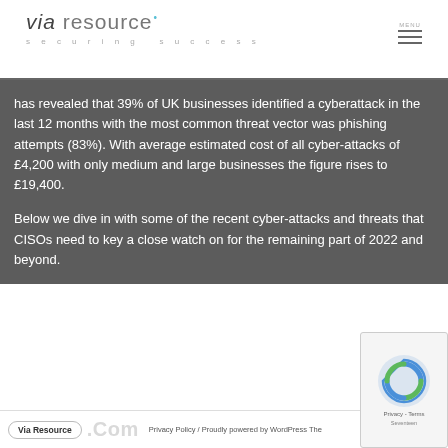via resource securing success
has revealed that 39% of UK businesses identified a cyberattack in the last 12 months with the most common threat vector was phishing attempts (83%). With average estimated cost of all cyber-attacks of £4,200 with only medium and large businesses the figure rises to £19,400.
Below we dive in with some of the recent cyber-attacks and threats that CISOs need to key a close watch on for the remaining part of 2022 and beyond.
Via Resource  Privacy Policy / Proudly powered by WordPress The Seventeen